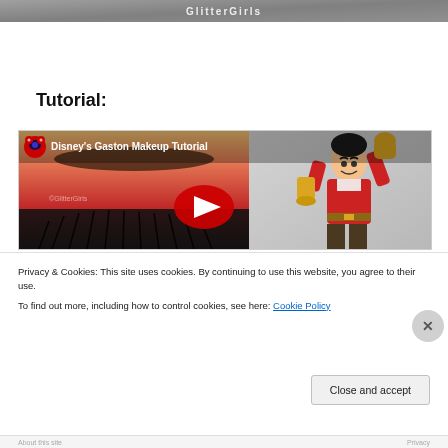[Figure (screenshot): Top portion of a decorative glitter girls banner image, partially visible at the top of the page]
Tutorial:
[Figure (screenshot): YouTube video thumbnail for 'Disney's Gaston Makeup Tutorial' showing dramatic eye makeup on the left side and the Gaston character from Beauty and the Beast on the right, with a YouTube play button in the center]
Privacy & Cookies: This site uses cookies. By continuing to use this website, you agree to their use.
To find out more, including how to control cookies, see here: Cookie Policy
Close and accept